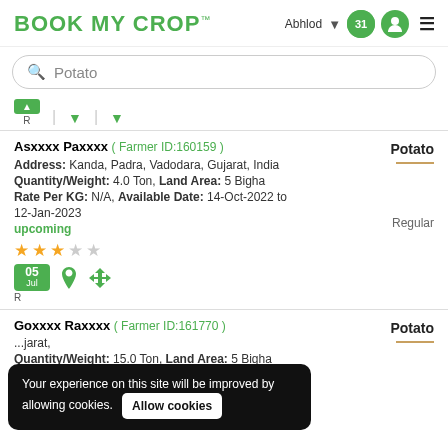BOOK MY CROP — Abhlod, user icon, menu
Potato (search bar)
R filter row with dropdown arrows
Asxxxx Paxxxx ( Farmer ID:160159 ) — Potato
Address: Kanda, Padra, Vadodara, Gujarat, India
Quantity/Weight: 4.0 Ton, Land Area: 5 Bigha
Rate Per KG: N/A, Available Date: 14-Oct-2022 to 12-Jan-2023
upcoming
3 stars out of 5
Date badge: 05 Jul, R
Quality: Regular
Goxxxx Raxxxx ( Farmer ID:161770 ) — Potato
...jarat,
Quantity/Weight: 15.0 Ton, Land Area: 5 Bigha
Your experience on this site will be improved by allowing cookies. Allow cookies